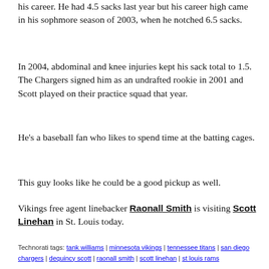his career. He had 4.5 sacks last year but his career high came in his sophmore season of 2003, when he notched 6.5 sacks.
In 2004, abdominal and knee injuries kept his sack total to 1.5. The Chargers signed him as an undrafted rookie in 2001 and Scott played on their practice squad that year.
He's a baseball fan who likes to spend time at the batting cages.
This guy looks like he could be a good pickup as well.
Vikings free agent linebacker Raonall Smith is visiting Scott Linehan in St. Louis today.
Technorati tags: tank williams | minnesota vikings | tennessee titans | san diego chargers | dequincy scott | raonall smith | scott linehan | st louis rams